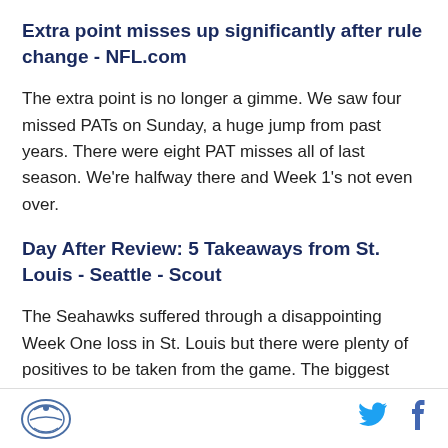Extra point misses up significantly after rule change - NFL.com
The extra point is no longer a gimme. We saw four missed PATs on Sunday, a huge jump from past years. There were eight PAT misses all of last season. We're halfway there and Week 1's not even over.
Day After Review: 5 Takeaways from St. Louis - Seattle - Scout
The Seahawks suffered through a disappointing Week One loss in St. Louis but there were plenty of positives to be taken from the game. The biggest being to believe in the process -- the Seahawks aren't going to lose many games in which they win the turnover and
[logo] [twitter] [facebook]